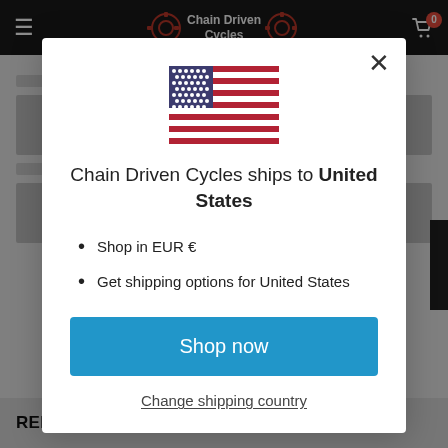Chain Driven Cycles - navigation header
[Figure (screenshot): US flag SVG illustration inside modal dialog]
Chain Driven Cycles ships to United States
Shop in EUR €
Get shipping options for United States
Shop now
Change shipping country
RELATED PRODUCTS